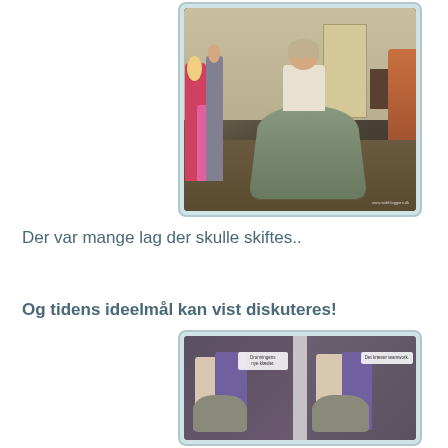[Figure (photo): Historical costume demonstration indoors. A woman wearing a large grey/green period skirt or crinoline is shown among a group of onlookers including children in a room with period decor.]
Der var mange lag der skulle skiftes..
Og tidens ideelmål kan vist diskuteres!
[Figure (photo): Two-panel composite photo showing people in historical costumes with text overlay 'Dronningens nye klæder' and 'Det kræver teamwork.']